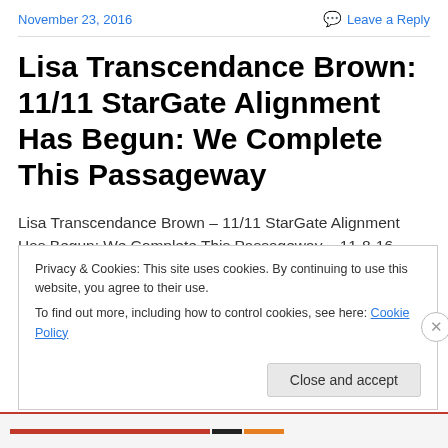November 23, 2016
Leave a Reply
Lisa Transcendance Brown: 11/11 StarGate Alignment Has Begun: We Complete This Passageway
Lisa Transcendance Brown – 11/11 StarGate Alignment Has Begun: We Complete This Passageway – 11-8-16
Privacy & Cookies: This site uses cookies. By continuing to use this website, you agree to their use.
To find out more, including how to control cookies, see here: Cookie Policy
Close and accept